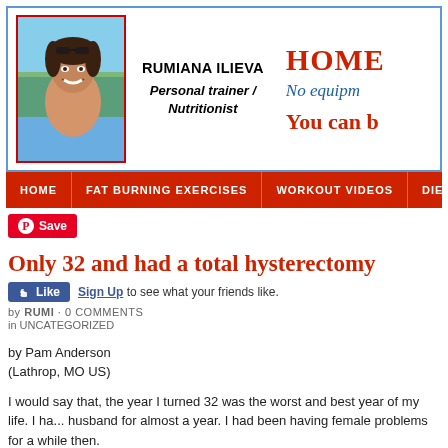[Figure (photo): Header with photo of Rumiana Ilieva (woman with sunglasses on head, smiling), personal trainer and nutritionist, alongside partial site banner reading HOME, No equipm..., You can b...]
RUMIANA ILIEVA Personal trainer / Nutritionist
HOME | FAT BURNING EXERCISES | WORKOUT VIDEOS | DIETS
Only 32 and had a total hysterectomy
Sign Up to see what your friends like.
by RUMI · 0 COMMENTS
in UNCATEGORIZED
by Pam Anderson
(Lathrop, MO US)
I would say that, the year I turned 32 was the worst and best year of my life. I ha... husband for almost a year. I had been having female problems for a while then.